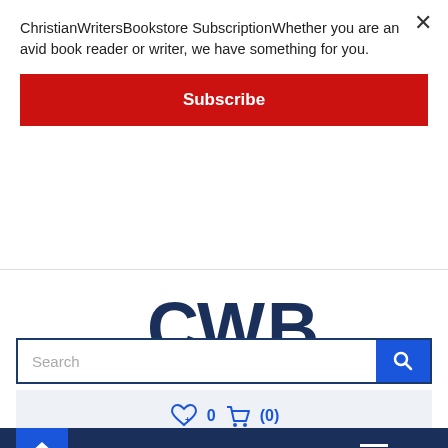ChristianWritersBookstore SubscriptionWhether you are an avid book reader or writer, we have something for you.
Subscribe
[Figure (logo): CWB logo with brown swoosh and dark blue block letters CWB]
ChristianWritersBookstore.com
Search
0   (0)